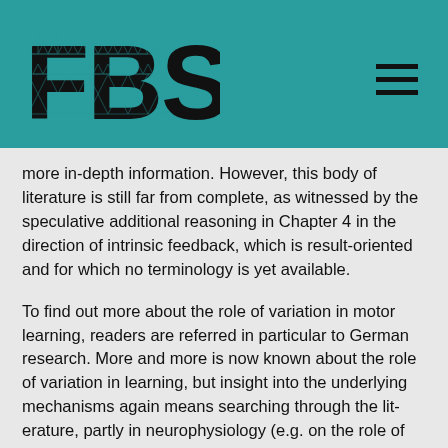[Figure (logo): FBS logo with fractal/triangular pattern lettering on teal background header bar with hamburger menu icon]
more in-depth information. However, this body of literature is still far from complete, as witnessed by the speculative additional reasoning in Chapter 4 in the direction of intrinsic feedback, which is result-oriented and for which no terminology is yet available.
To find out more about the role of variation in motor learning, readers are referred in particular to German research. More and more is now known about the role of variation in learning, but insight into the underlying mechanisms again means searching through the lit- erature, partly in neurophysiology (e.g. on the role of chaos in the